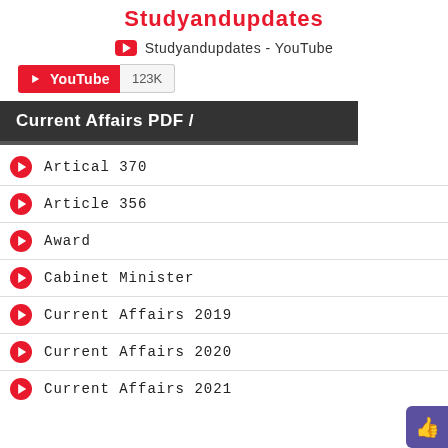Studyandupdates
Studyandupdates - YouTube
[Figure (screenshot): YouTube subscribe button showing 123K subscribers]
Current Affairs PDF /
Artical 370
Article 356
Award
Cabinet Minister
Current Affairs 2019
Current Affairs 2020
Current Affairs 2021